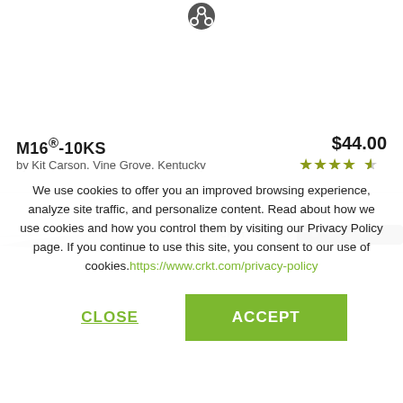[Figure (screenshot): Share/upload icon at top center of product page]
M16®-10KS
$44.00
by Kit Carson, Vine Grove, Kentucky
[Figure (other): Five star rating with last star partially filled, olive/yellow stars]
[Figure (photo): Close-up photo of a CRKT folding knife blade and handle]
We use cookies to offer you an improved browsing experience, analyze site traffic, and personalize content. Read about how we use cookies and how you control them by visiting our Privacy Policy page. If you continue to use this site, you consent to our use of cookies.https://www.crkt.com/privacy-policy
CLOSE
ACCEPT